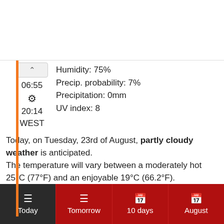06:55  [sun icon]  20:14  WEST   Humidity: 75%  Precip. probability: 7%  Precipitation: 0mm  UV index: 8
Today, on Tuesday, 23rd of August, partly cloudy weather is anticipated. The temperature will vary between a moderately hot 25°C (77°F) and an enjoyable 19°C (66.2°F). Sunrise will be at 06:55 and sunset at 20:14; the daylight will last for 13h and 19min.
Today  Tomorrow  10 days  August